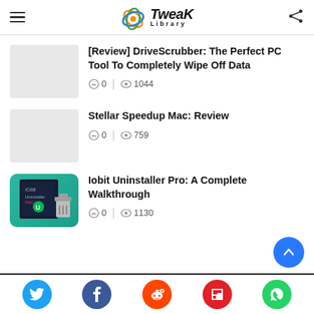Tweak Library
[Review] DriveScrubber: The Perfect PC Tool To Completely Wipe Off Data
0 | 1044
Stellar Speedup Mac: Review
0 | 759
Iobit Uninstaller Pro: A Complete Walkthrough
0 | 1130
Twitter, Facebook, Reddit, Flipboard, WhatsApp